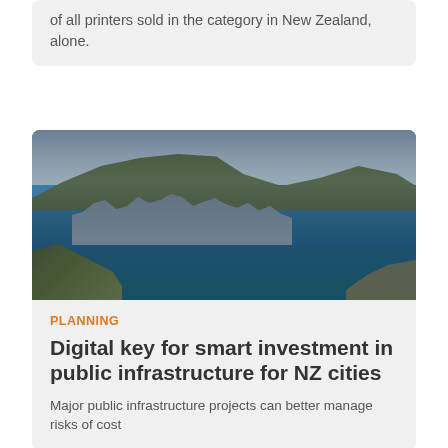of all printers sold in the category in New Zealand, alone.
[Figure (photo): Aerial photograph of Wellington, New Zealand, showing the harbour, city waterfront, surrounding hills and mountains under cloudy sky.]
PLANNING
Digital key for smart investment in public infrastructure for NZ cities
Major public infrastructure projects can better manage risks of cost